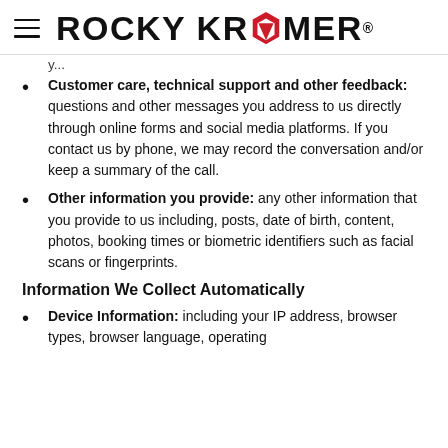ROCKY KRAMER
Customer care, technical support and other feedback: questions and other messages you address to us directly through online forms and social media platforms. If you contact us by phone, we may record the conversation and/or keep a summary of the call.
Other information you provide: any other information that you provide to us including, posts, date of birth, content, photos, booking times or biometric identifiers such as facial scans or fingerprints.
Information We Collect Automatically
Device Information: including your IP address, browser types, browser language, operating